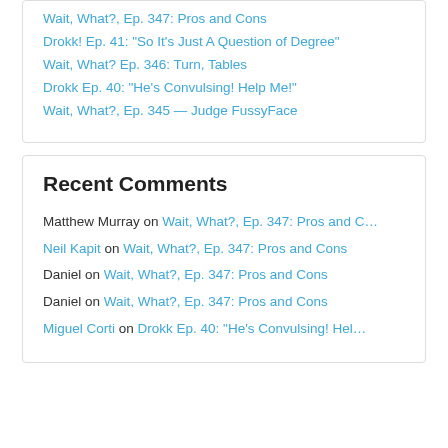Wait, What?, Ep. 347: Pros and Cons
Drokk! Ep. 41: “So It's Just A Question of Degree”
Wait, What? Ep. 346: Turn, Tables
Drokk Ep. 40: “He's Convulsing! Help Me!”
Wait, What?, Ep. 345 — Judge FussyFace
Recent Comments
Matthew Murray on Wait, What?, Ep. 347: Pros and C…
Neil Kapit on Wait, What?, Ep. 347: Pros and Cons
Daniel on Wait, What?, Ep. 347: Pros and Cons
Daniel on Wait, What?, Ep. 347: Pros and Cons
Miguel Corti on Drokk Ep. 40: “He's Convulsing! Hel…